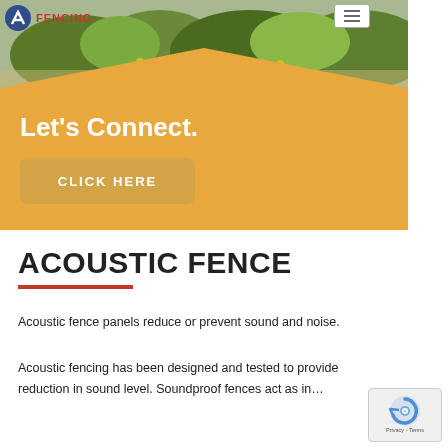[Figure (photo): Hero banner section with golden/amber background, garden photo at top with green plants, V-shaped chevron divider, and logo with FENCING text at top left, hamburger menu button at top right]
Let's Connect.
CLICK HERE
ACOUSTIC FENCE
Acoustic fence panels reduce or prevent sound and noise.
Acoustic fencing has been designed and tested to provide reduction in sound level. Soundproof fences act as in...